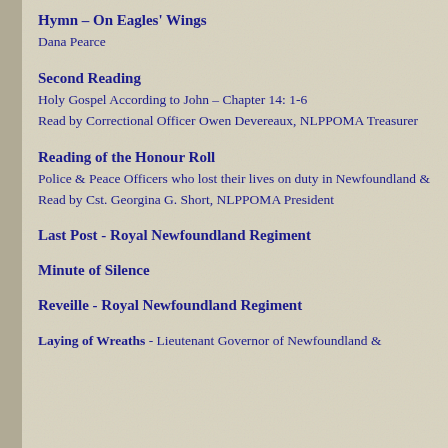Hymn – On Eagles' Wings
Dana Pearce
Second Reading
Holy Gospel According to John – Chapter 14: 1-6
Read by Correctional Officer Owen Devereaux, NLPPOMA Treasurer
Reading of the Honour Roll
Police & Peace Officers who lost their lives on duty in Newfoundland &
Read by Cst. Georgina G. Short, NLPPOMA President
Last Post - Royal Newfoundland Regiment
Minute of Silence
Reveille - Royal Newfoundland Regiment
Laying of Wreaths - Lieutenant Governor of Newfoundland &